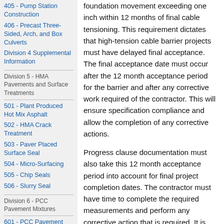405 - Pump Station Construction
406 - Precast Three-Sided, Arch, and Box Culverts
Division 4 Supplemental Information
Division 5 - HMA Pavements and Surface Treatments
501 - Plant Produced Hot Mix Asphalt
502 - HMA Crack Treatment
503 - Paver Placed Surface Seal
504 - Micro-Surfacing
505 - Chip Seals
506 - Slurry Seal
Division 6 - PCC Pavement Mixtures
601 - PCC Pavement Mixtures
602 - Concrete Pavement Construction
foundation movement exceeding one inch within 12 months of final cable tensioning. This requirement dictates that high-tension cable barrier projects must have delayed final acceptance. The final acceptance date must occur after the 12 month acceptance period for the barrier and after any corrective work required of the contractor. This will ensure specification compliance and allow the completion of any corrective actions.
Progress clause documentation must also take this 12 month acceptance period into account for final project completion dates. The contractor must have time to complete the required measurements and perform any corrective action that is required. It is suggested that an additional 60 days be